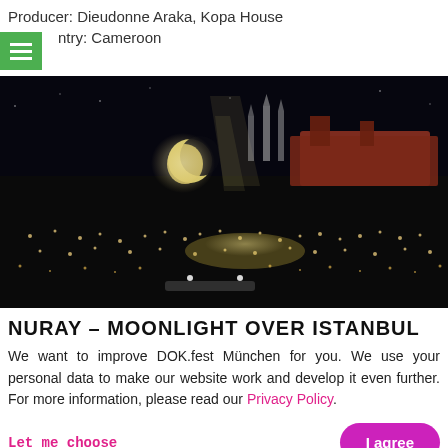Producer: Dieudonne Araka, Kopa House
Country: Cameroon
[Figure (photo): Night aerial view of Istanbul showing city lights, a crescent moon in the sky, minarets and a ship in the upper right area, with illuminated streets below]
NURAY – MOONLIGHT OVER ISTANBUL
We want to improve DOK.fest München for you. We use your personal data to make our website work and develop it even further. For more information, please read our Privacy Policy.
Let me choose
I agree